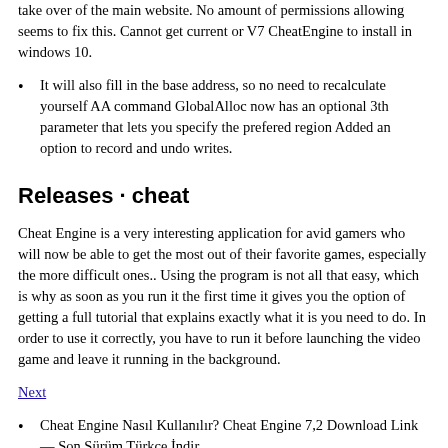take over of the main website. No amount of permissions allowing seems to fix this. Cannot get current or V7 CheatEngine to install in windows 10.
It will also fill in the base address, so no need to recalculate yourself AA command GlobalAlloc now has an optional 3th parameter that lets you specify the prefered region Added an option to record and undo writes.
Releases · cheat
Cheat Engine is a very interesting application for avid gamers who will now be able to get the most out of their favorite games, especially the more difficult ones.. Using the program is not all that easy, which is why as soon as you run it the first time it gives you the option of getting a full tutorial that explains exactly what it is you need to do. In order to use it correctly, you have to run it before launching the video game and leave it running in the background.
Next
Cheat Engine Nasıl Kullanılır? Cheat Engine 7,2 Download Link — Son Sürüm Türkçe İndir.